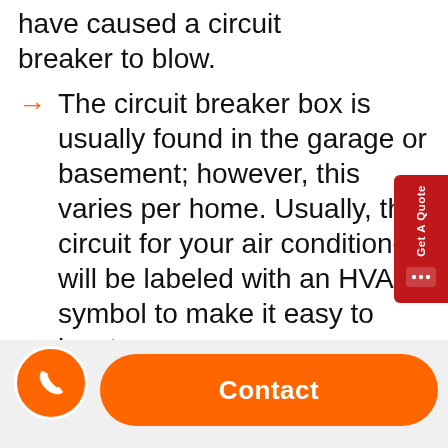have caused a circuit breaker to blow.
The circuit breaker box is usually found in the garage or basement; however, this varies per home. Usually, the circuit for your air conditioner will be labeled with an HVAC symbol to make it easy to locate.
Turn off the breaker if it was on. Switch it back on after this condition